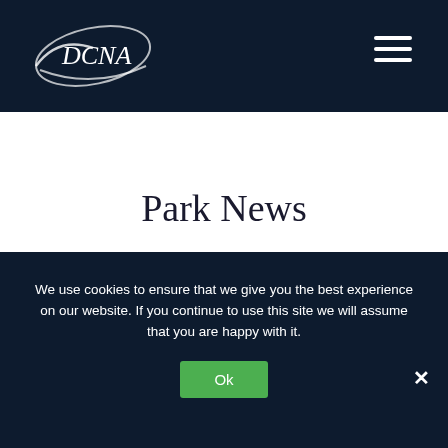DCNA
Park News
[Figure (photo): Outdoor photo showing palm trees against a blue sky, partially visible at the bottom of the page]
We use cookies to ensure that we give you the best experience on our website. If you continue to use this site we will assume that you are happy with it.